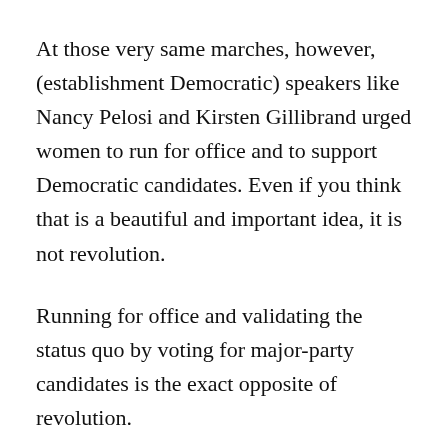At those very same marches, however, (establishment Democratic) speakers like Nancy Pelosi and Kirsten Gillibrand urged women to run for office and to support Democratic candidates. Even if you think that is a beautiful and important idea, it is not revolution.
Running for office and validating the status quo by voting for major-party candidates is the exact opposite of revolution.
USA Today's take was typical: "Women's March returns, but the real focus now is the midterm elections." The paper quotes Linda Meigs, who is challenging a GOP incumbent in Alabama: "I